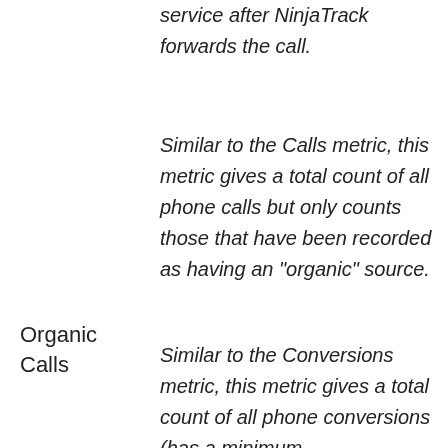service after NinjaTrack forwards the call.
Organic Calls
Similar to the Calls metric, this metric gives a total count of all phone calls but only counts those that have been recorded as having an "organic" source.
Similar to the Conversions metric, this metric gives a total count of all phone conversions (has a minimum